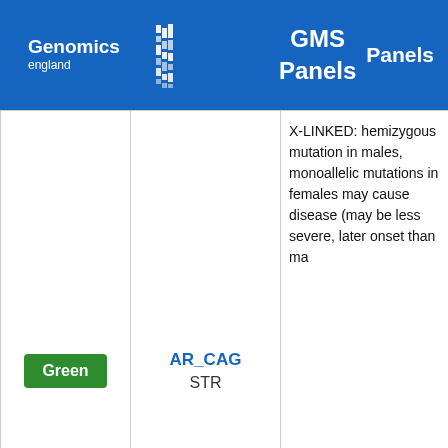Genomics England GMS Panels
| Rating | Gene / Variant | Mode of Inheritance |
| --- | --- | --- |
| Green | AR_CAG STR | X-LINKED: hemizygous mutation in males, monoallelic mutations in females may cause disease (may be less severe, later onset than ma... |
| Green | ATL1 | MONOALLELIC: autosomal or pseudoautosomal, imprinted sta... |